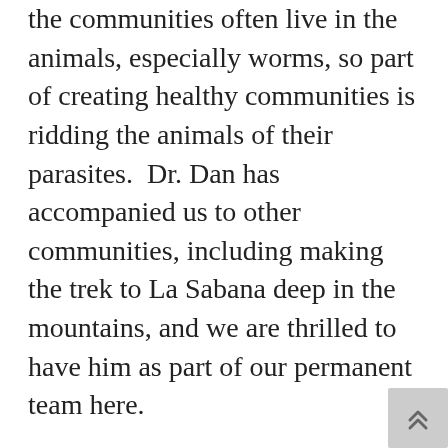the communities often live in the animals, especially worms, so part of creating healthy communities is ridding the animals of their parasites. Dr. Dan has accompanied us to other communities, including making the trek to La Sabana deep in the mountains, and we are thrilled to have him as part of our permanent team here.
Dan shared an email with us that he wrote to his family back in the US after his first mobile clinic with us, and we